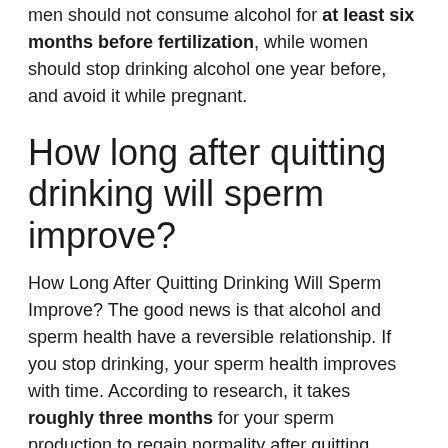men should not consume alcohol for at least six months before fertilization, while women should stop drinking alcohol one year before, and avoid it while pregnant.
How long after quitting drinking will sperm improve?
How Long After Quitting Drinking Will Sperm Improve? The good news is that alcohol and sperm health have a reversible relationship. If you stop drinking, your sperm health improves with time. According to research, it takes roughly three months for your sperm production to regain normality after quitting.